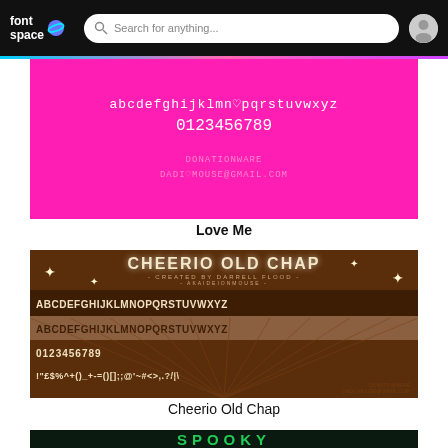fontspace — Search for anything...
[Figure (screenshot): Love Me font preview on pink background showing lowercase alphabet, numbers, and donation info]
Love Me
[Figure (screenshot): Cheerio Old Chap font preview on brown background showing alphabet (two styles), numbers, and special characters. Created by Darrell Flood / akaideionmouse]
Cheerio Old Chap
[Figure (screenshot): Spooky font preview showing partial text in green on dark background]